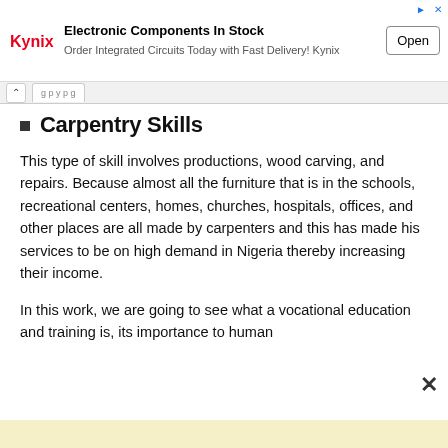[Figure (other): Kynix advertisement banner: 'Electronic Components In Stock - Order Integrated Circuits Today with Fast Delivery! Kynix' with Open button]
Carpentry Skills
This type of skill involves productions, wood carving, and repairs. Because almost all the furniture that is in the schools, recreational centers, homes, churches, hospitals, offices, and other places are all made by carpenters and this has made his services to be on high demand in Nigeria thereby increasing their income.
In this work, we are going to see what a vocational education and training is, its importance to human